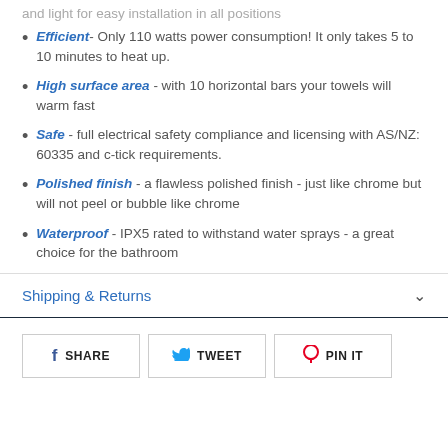and light for easy installation in all positions
Efficient - Only 110 watts power consumption! It only takes 5 to 10 minutes to heat up.
High surface area - with 10 horizontal bars your towels will warm fast
Safe - full electrical safety compliance and licensing with AS/NZ: 60335 and c-tick requirements.
Polished finish - a flawless polished finish - just like chrome but will not peel or bubble like chrome
Waterproof - IPX5 rated to withstand water sprays - a great choice for the bathroom
Shipping & Returns
SHARE  TWEET  PIN IT